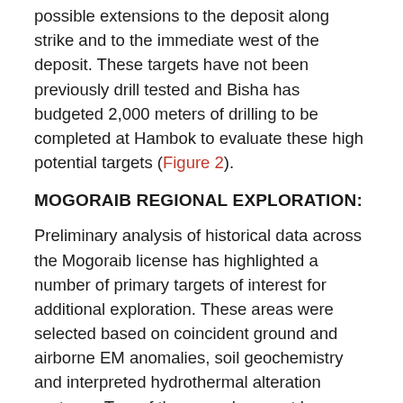possible extensions to the deposit along strike and to the immediate west of the deposit. These targets have not been previously drill tested and Bisha has budgeted 2,000 meters of drilling to be completed at Hambok to evaluate these high potential targets (Figure 2).
MOGORAIB REGIONAL EXPLORATION:
Preliminary analysis of historical data across the Mogoraib license has highlighted a number of primary targets of interest for additional exploration. These areas were selected based on coincident ground and airborne EM anomalies, soil geochemistry and interpreted hydrothermal alteration systems. Two of the areas have not been drilled and one area has seen only limited drilling with positive results.
Although Bisha does not plan to drill test the areas in 2013, ground evaluation will begin in 2013 with a plan to pursue target testing in 2014.